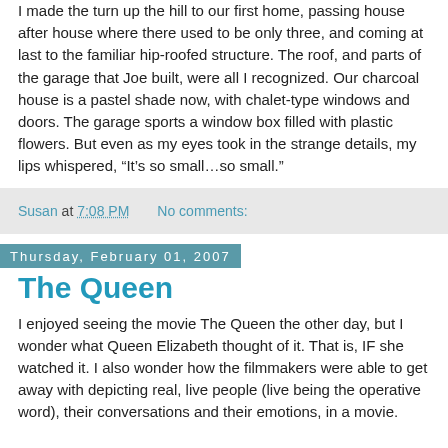I made the turn up the hill to our first home, passing house after house where there used to be only three, and coming at last to the familiar hip-roofed structure. The roof, and parts of the garage that Joe built, were all I recognized. Our charcoal house is a pastel shade now, with chalet-type windows and doors. The garage sports a window box filled with plastic flowers. But even as my eyes took in the strange details, my lips whispered, “It’s so small…so small.”
Susan at 7:08 PM    No comments:
Thursday, February 01, 2007
The Queen
I enjoyed seeing the movie The Queen the other day, but I wonder what Queen Elizabeth thought of it. That is, IF she watched it. I also wonder how the filmmakers were able to get away with depicting real, live people (live being the operative word), their conversations and their emotions, in a movie.